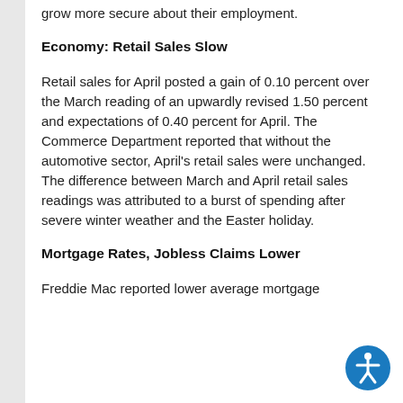grow more secure about their employment.
Economy: Retail Sales Slow
Retail sales for April posted a gain of 0.10 percent over the March reading of an upwardly revised 1.50 percent and expectations of 0.40 percent for April. The Commerce Department reported that without the automotive sector, April's retail sales were unchanged. The difference between March and April retail sales readings was attributed to a burst of spending after severe winter weather and the Easter holiday.
Mortgage Rates, Jobless Claims Lower
Freddie Mac reported lower average mortgage